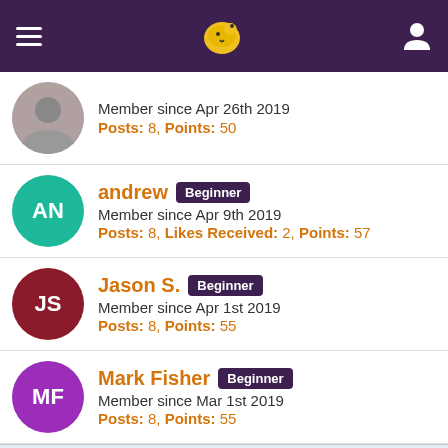Forum member list header with hamburger menu, logo, and user icon
Member since Apr 26th 2019
Posts: 8, Points: 50
andrew Beginner
Member since Apr 9th 2019
Posts: 8, Likes Received: 2, Points: 57
Jason S. Beginner
Member since Apr 1st 2019
Posts: 8, Points: 55
Mark Fisher Beginner
Member since Mar 1st 2019
Posts: 8, Points: 55
This site uses cookies. By continuing to browse this site, you are agreeing to our use of cookies.
More Details  Close